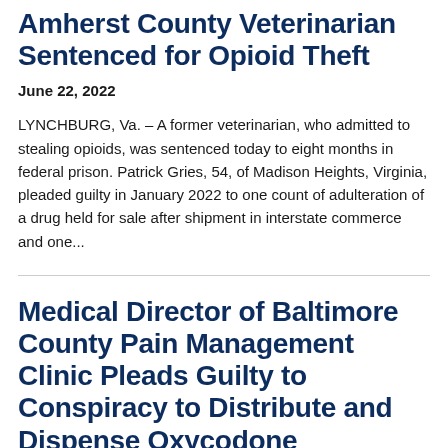Amherst County Veterinarian Sentenced for Opioid Theft
June 22, 2022
LYNCHBURG, Va. – A former veterinarian, who admitted to stealing opioids, was sentenced today to eight months in federal prison. Patrick Gries, 54, of Madison Heights, Virginia, pleaded guilty in January 2022 to one count of adulteration of a drug held for sale after shipment in interstate commerce and one...
Medical Director of Baltimore County Pain Management Clinic Pleads Guilty to Conspiracy to Distribute and Dispense Oxycodone